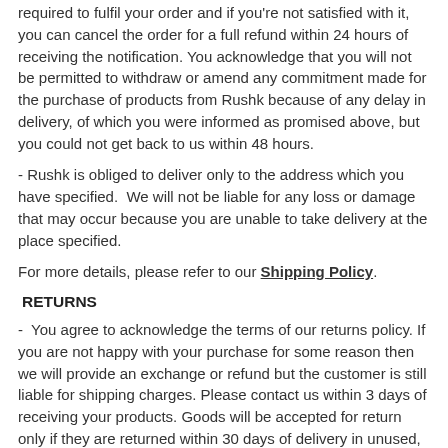required to fulfil your order and if you're not satisfied with it, you can cancel the order for a full refund within 24 hours of receiving the notification. You acknowledge that you will not be permitted to withdraw or amend any commitment made for the purchase of products from Rushk because of any delay in delivery, of which you were informed as promised above, but you could not get back to us within 48 hours.
- Rushk is obliged to deliver only to the address which you have specified.  We will not be liable for any loss or damage that may occur because you are unable to take delivery at the place specified.
For more details, please refer to our Shipping Policy.
RETURNS
-  You agree to acknowledge the terms of our returns policy. If you are not happy with your purchase for some reason then we will provide an exchange or refund but the customer is still liable for shipping charges. Please contact us within 3 days of receiving your products. Goods will be accepted for return only if they are returned within 30 days of delivery in unused, unopened and ready-to-sale condition, with original packaging and labelling. Opened packages will not be accepted for return.